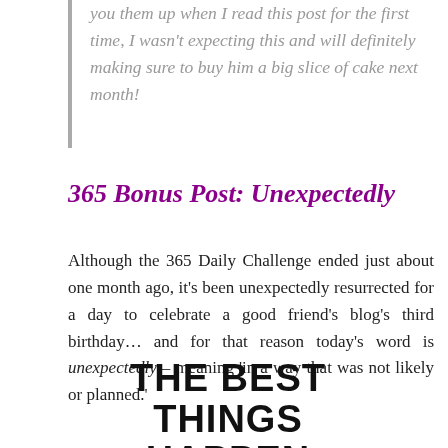you them up when I read this post for the first time, I wasn't expecting this and will definitely making sure to buy him a big slice of cake next month!
365 Bonus Post: Unexpectedly
Although the 365 Daily Challenge ended just about one month ago, it's been unexpectedly resurrected for a day to celebrate a good friend's blog's third birthday… and for that reason today's word is unexpectedly – meaning 'in a way that was not likely or planned.'
THE BEST THINGS HAPPEN